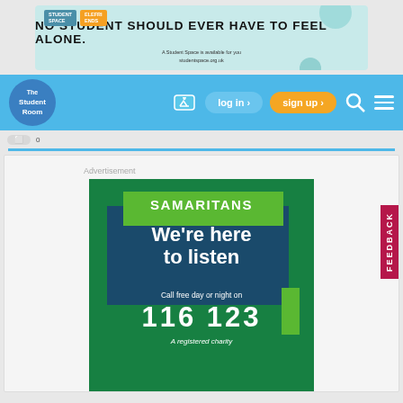[Figure (infographic): Student Space banner ad: 'NO STUDENT SHOULD EVER HAVE TO FEEL ALONE.' on teal/mint background with logos]
The Student Room — navigation bar with log in, sign up, search and menu buttons
Advertisement
[Figure (infographic): Samaritans charity advertisement: 'SAMARITANS — We're here to listen — Call free day or night on 116 123 — A registered charity' on green background]
FEEDBACK